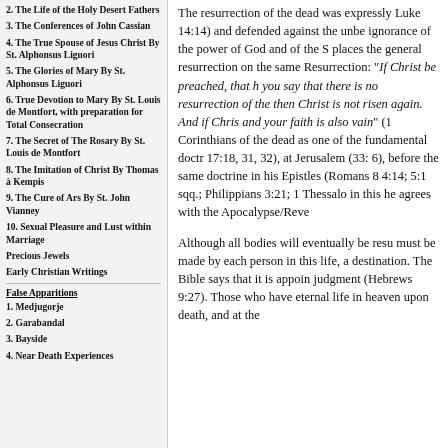2. The Life of the Holy Desert Fathers
3. The Conferences of John Cassian
4. The True Spouse of Jesus Christ By St. Alphonsus Liguori
5. The Glories of Mary By St. Alphonsus Liguori
6. True Devotion to Mary By St. Louis de Montfort, with preparation for Total Consecration
7. The Secret of The Rosary By St. Louis de Montfort
8. The Imitation of Christ By Thomas à Kempis
9. The Cure of Ars By St. John Vianney
10. Sexual Pleasure and Lust within Marriage
Precious Jewels
Early Christian Writings
False Apparitions
1. Medjugorje
2. Garabandal
3. Bayside
4. Near Death Experiences
The resurrection of the dead was expressly Luke 14:14) and defended against the unbe ignorance of the power of God and of the S places the general resurrection on the same Resurrection: "If Christ be preached, that h you say that there is no resurrection of the then Christ is not risen again. And if Chris and your faith is also vain" (1 Corinthians of the dead as one of the fundamental doctr 17:18, 31, 32), at Jerusalem (33: 6), before the same doctrine in his Epistles (Romans 8 4:14; 5:1 sqq.; Philippians 3:21; 1 Thessalo in this he agrees with the Apocalypse/Reve
Although all bodies will eventually be resu must be made by each person in this life, a destination. The Bible says that it is appoin judgment (Hebrews 9:27). Those who have eternal life in heaven upon death, and at the